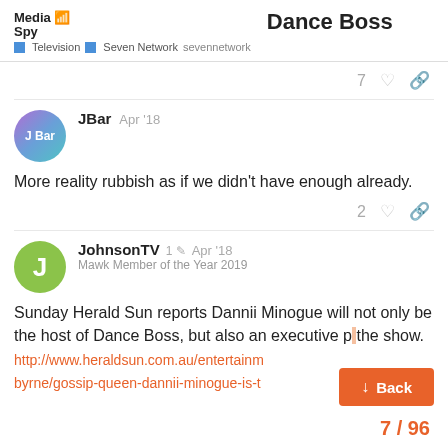Dance Boss — Television | Seven Network | sevennetwork
7
JBar — Apr '18
More reality rubbish as if we didn't have enough already.
2
JohnsonTV — Mawk Member of the Year 2019 — 1 edit — Apr '18
Sunday Herald Sun reports Dannii Minogue will not only be the host of Dance Boss, but also an executive p[roducer of] the show.
http://www.heraldsun.com.au/entertainn... byrne/gossip-queen-dannii-minogue-is-t...